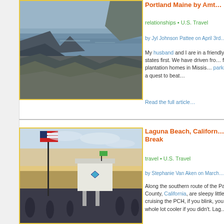[Figure (photo): Rocky coastline with water and dark rocks, overcast sky]
Portland Maine by Amt…
relationships • U.S. Travel
by Jyl Johnson Pattee on April 3rd…
My husband and I are in a friendly… US states first. We have driven fro… front of plantation homes in Missis… parks all in a quest to beat…
Read the full article…
[Figure (photo): Lifeguard tower at beach with American flag at sunset, people in foreground]
Laguna Beach, Californ… Break
travel • U.S. Travel
by Stephanie Van Aken on March…
Along the southern route of the Pa… County, California, are sleepy little… cruising the PCH, if you blink, you… a whole lot cooler if you didn't. Lag…